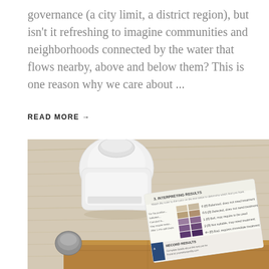governance (a city limit, a district region), but isn't it refreshing to imagine communities and neighborhoods connected by the water that flows nearby, above and below them? This is one reason why we care about ...
READ MORE →
[Figure (photo): A white plastic bottle and a water testing kit with color chart cards showing 'INTERPRETING RESULTS' section with purple/tan color swatches, and a small grey cap, all resting on a light wood surface above a cardboard box.]